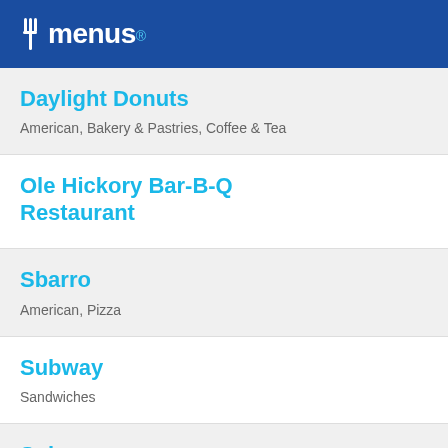allmenus
Daylight Donuts
American, Bakery & Pastries, Coffee & Tea
Ole Hickory Bar-B-Q Restaurant
Sbarro
American, Pizza
Subway
Sandwiches
Subway